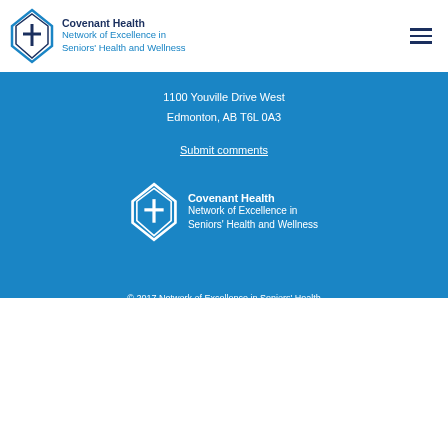Covenant Health Network of Excellence in Seniors' Health and Wellness
1100 Youville Drive West
Edmonton, AB T6L 0A3
Submit comments
[Figure (logo): Covenant Health Network of Excellence in Seniors' Health and Wellness logo — white version on blue background]
© 2017 Network of Excellence in Seniors' Health